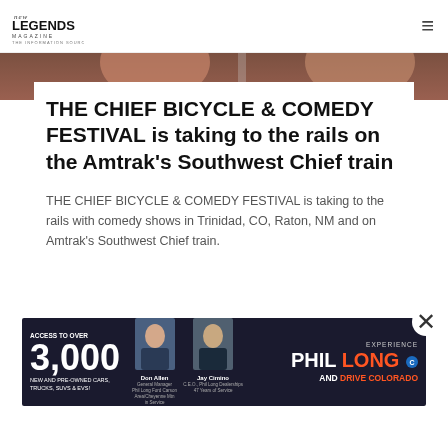Legends Magazine
[Figure (photo): Partial photo strip showing people, cropped at top]
THE CHIEF BICYCLE & COMEDY FESTIVAL is taking to the rails on the Amtrak's Southwest Chief train
THE CHIEF BICYCLE & COMEDY FESTIVAL is taking to the rails with comedy shows in Trinidad, CO, Raton, NM and on Amtrak's Southwest Chief train.
[Figure (photo): Phil Long dealership advertisement banner showing Don Allen (General Manager) and Jay Cimino (CEO), with text: ACCESS TO OVER 3,000 NEW AND PRE-OWNED CARS, TRUCKS, SUVs & EVs! EXPERIENCE PHIL LONG AND DRIVE COLORADO]